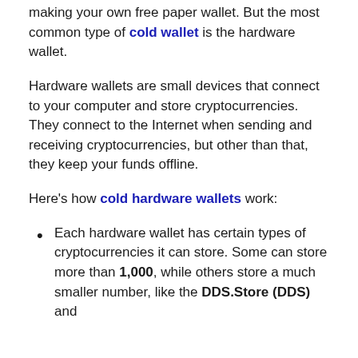making your own free paper wallet. But the most common type of cold wallet is the hardware wallet.
Hardware wallets are small devices that connect to your computer and store cryptocurrencies. They connect to the Internet when sending and receiving cryptocurrencies, but other than that, they keep your funds offline.
Here's how cold hardware wallets work:
Each hardware wallet has certain types of cryptocurrencies it can store. Some can store more than 1,000, while others store a much smaller number, like the DDS.Store (DDS) and